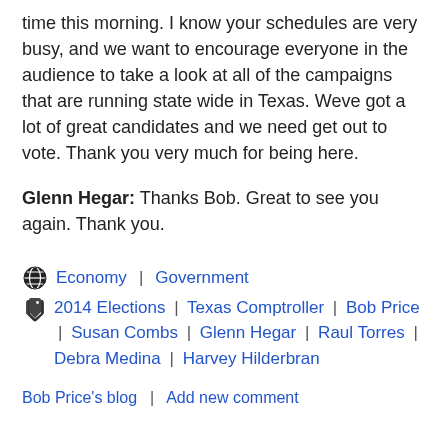time this morning. I know your schedules are very busy, and we want to encourage everyone in the audience to take a look at all of the campaigns that are running state wide in Texas. Weve got a lot of great candidates and we need get out to vote. Thank you very much for being here.
Glenn Hegar: Thanks Bob. Great to see you again. Thank you.
Economy | Government
2014 Elections | Texas Comptroller | Bob Price | Susan Combs | Glenn Hegar | Raul Torres | Debra Medina | Harvey Hilderbran
Bob Price's blog | Add new comment